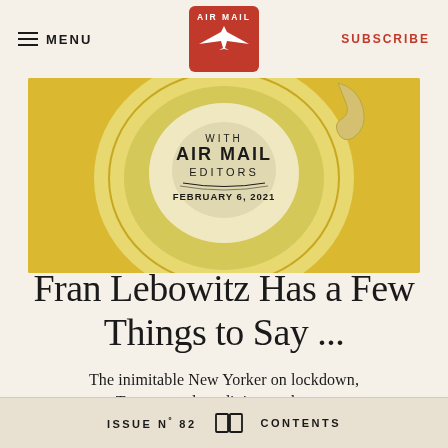MENU | AIR MAIL [logo] | SUBSCRIBE
[Figure (illustration): Illustrated image showing a plate/dish with circular stamp text reading: WITH AIR MAIL EDITORS / FEBRUARY 6, 2021. Curved text along the bottom reads: ASHLEY BAKER & MICHAEL HAINEY. Yellow/gold background with plate motif.]
Fran Lebowitz Has a Few Things to Say ...
The inimitable New Yorker on lockdown, Trump, outdoor dining, and more
ISSUE Nº 82  [book icon]  CONTENTS